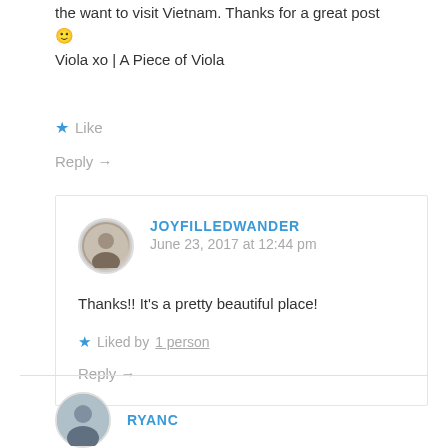the want to visit Vietnam. Thanks for a great post 🙂
Viola xo | A Piece of Viola
★ Like
Reply →
JOYFILLEDWANDER
June 23, 2017 at 12:44 pm
Thanks!! It's a pretty beautiful place!
★ Liked by 1 person
Reply →
RYANC